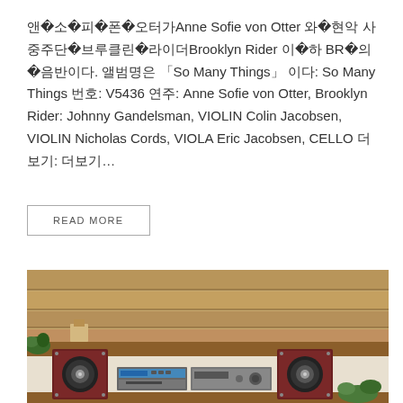앤 소피 폰 오터(Anne Sofie von Otter)와 현악 사중주단 브루클린 라이더(Brooklyn Rider 이하 BR)의 음반이다. 앨범명은 「So Many Things」 이다: So Many Things 번호: V5436 연주: Anne Sofie von Otter, Brooklyn Rider: Johnny Gandelsman, VIOLIN Colin Jacobsen, VIOLIN Nicholas Cords, VIOLA Eric Jacobsen, CELLO 더보기: 더보기…
READ MORE
[Figure (photo): Photo of a wooden shelf with two dark red bookshelf speakers and a silver hi-fi audio system (CD player and amplifier) placed between them, with green plants and wooden wall paneling in the background.]